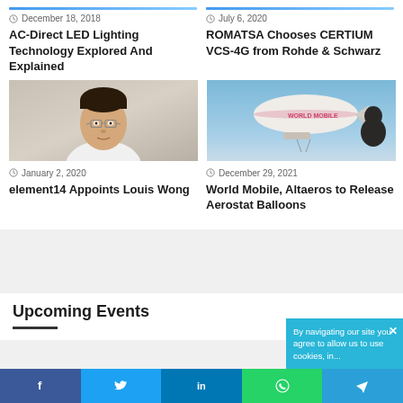December 18, 2018
AC-Direct LED Lighting Technology Explored And Explained
July 6, 2020
ROMATSA Chooses CERTIUM VCS-4G from Rohde & Schwarz
[Figure (photo): Portrait of a man with glasses in white shirt]
January 2, 2020
element14 Appoints Louis Wong
[Figure (photo): A blimp/aerostat balloon with a person in silhouette against sky]
December 29, 2021
World Mobile, Altaeros to Release Aerostat Balloons
Upcoming Events
By navigating our site you agree to allow us to use cookies, in...